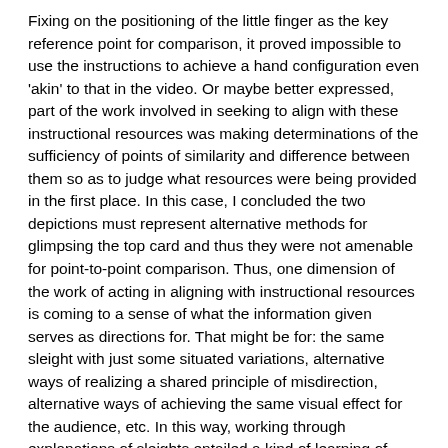Fixing on the positioning of the little finger as the key reference point for comparison, it proved impossible to use the instructions to achieve a hand configuration even 'akin' to that in the video. Or maybe better expressed, part of the work involved in seeking to align with these instructional resources was making determinations of the sufficiency of points of similarity and difference between them so as to judge what resources were being provided in the first place. In this case, I concluded the two depictions must represent alternative methods for glimpsing the top card and thus they were not amenable for point-to-point comparison. Thus, one dimension of the work of acting in aligning with instructional resources is coming to a sense of what the information given serves as directions for. That might be for: the same sleight with just some situated variations, alternative ways of realizing a shared principle of misdirection, alternative ways of achieving the same visual effect for the audience, etc. In this way, working through explanations of sleights entailed a kind of learning of how to learn with them. It also raised many questions in my mind regarding whether or not the variances were part of a deliberate educational strategy.
Effect and positioning
As developed through the analysis of Fulves' Self-Working Card Tricks in the Three Tricks: A Reading pages, written